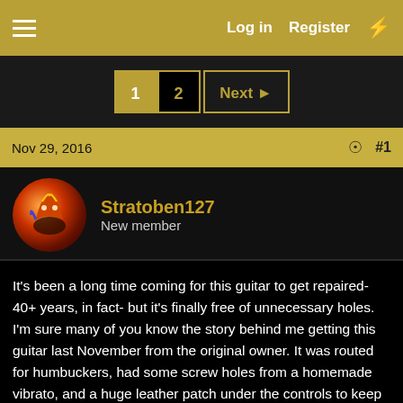Log in  Register
1  2  Next
Nov 29, 2016  #1
Stratoben127
New member
It's been a long time coming for this guitar to get repaired- 40+ years, in fact- but it's finally free of unnecessary holes. I'm sure many of you know the story behind me getting this guitar last November from the original owner. It was routed for humbuckers, had some screw holes from a homemade vibrato, and a huge leather patch under the controls to keep the knobs in place over a crack in the top that happened in the late 60s/early 70s. Everything else was original.

Here's a picture from the day I got it with DiMarzio PAFs, an unusably worn original thin-ear wraparound, and the original